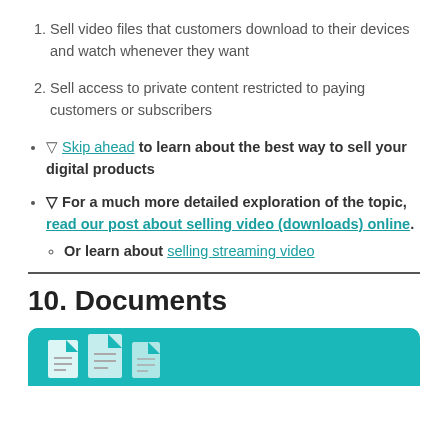Sell video files that customers download to their devices and watch whenever they want
Sell access to private content restricted to paying customers or subscribers
🔽 Skip ahead to learn about the best way to sell your digital products
🔽 For a much more detailed exploration of the topic, read our post about selling video (downloads) online. Or learn about selling streaming video
10. Documents
[Figure (illustration): Teal/turquoise banner image with document/file icons]